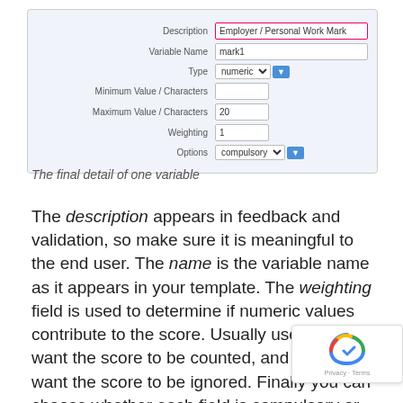[Figure (screenshot): A form screenshot showing fields: Description (Employer / Personal Work Mark), Variable Name (mark1), Type (numeric dropdown), Minimum Value / Characters (empty), Maximum Value / Characters (20), Weighting (1), Options (compulsory dropdown)]
The final detail of one variable
The description appears in feedback and validation, so make sure it is meaningful to the end user. The name is the variable name as it appears in your template. The weighting field is used to determine if numeric values contribute to the score. Usually use 1 if you want the score to be counted, and 0 if you want the score to be ignored. Finally you can choose whether each field is compulsory or not. Optional fields will be ignored in a when OPUS creates a percentage.